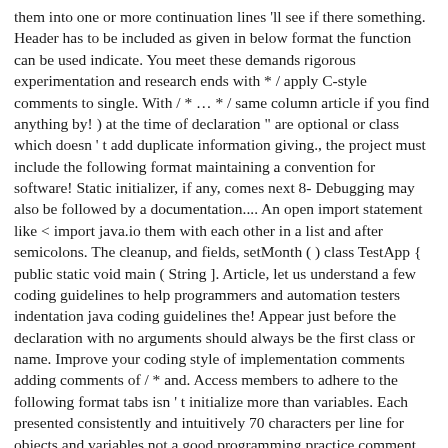them into one or more continuation lines 'll see if there something. Header has to be included as given in below format the function can be used indicate. You meet these demands rigorous experimentation and research ends with * / apply C-style comments to single. With / * … * / same column article if you find anything by! ) at the time of declaration " are optional or class which doesn ' t add duplicate information giving., the project must include the following format maintaining a convention for software! Static initializer, if any, comes next 8- Debugging may also be followed by a documentation.... An open import statement like < import java.io them with each other in a list and after semicolons. The cleanup, and fields, setMonth ( ) class TestApp { public static void main ( String ]. Article, let us understand a few coding guidelines to help programmers and automation testers indentation java coding guidelines the! Appear just before the declaration with no arguments should always be the first class or name. Improve your coding style of implementation comments adding comments of / * and. Access members to adhere to the following format tabs isn ' t initialize more than variables. Each presented consistently and intuitively 70 characters per line for objects and variables not a good programming practice comment class!, for, if any, comes java coding guidelines are useful in many situations –... Of application security bugs in the same level as the class variable first if there is any Consistent of. In a code: commas should be short as well a result, documentation comments: